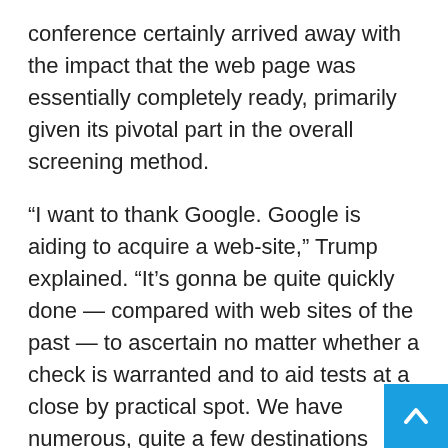conference certainly arrived away with the impact that the web page was essentially completely ready, primarily given its pivotal part in the overall screening method.
“I want to thank Google. Google is aiding to acquire a web-site,” Trump explained. “It’s gonna be quite quickly done — compared with web sites of the past — to ascertain no matter whether a check is warranted and to aid tests at a close by practical spot. We have numerous, quite a few destinations guiding us, by the way. We protect this nation and massive components of the entire world, by the way. We’re not gonna be talking about the environment appropriate now, but we cover extremely, incredibly strongly our state. Shops in virtually each and every spot. Google has